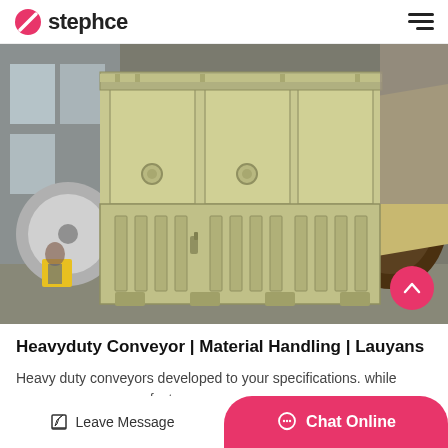stephce
[Figure (photo): Large yellow heavy-duty hammer crusher / industrial machinery in a factory warehouse setting, with flywheel visible on the right and metal components visible throughout.]
Heavyduty Conveyor | Material Handling | Lauyans
Heavy duty conveyors developed to your specifications. while many conveyor manufacturers a…
Leave Message  Chat Online